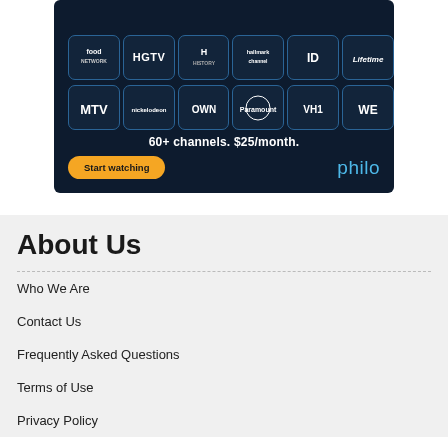[Figure (infographic): Philo streaming service advertisement showing channel logos (food, HGTV, History, Hallmark, ID, Lifetime, MTV, Nickelodeon, OWN, Paramount, VH1, WE) with text '60+ channels. $25/month.' and a 'Start watching' button alongside the Philo logo.]
About Us
Who We Are
Contact Us
Frequently Asked Questions
Terms of Use
Privacy Policy